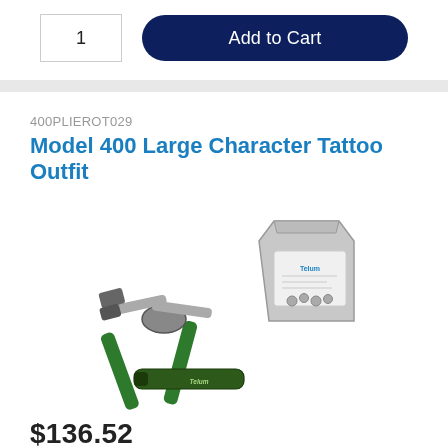1
Add to Cart
400PLIEROT029
Model 400 Large Character Tattoo Outfit
[Figure (photo): Product photo showing green-handled tattoo plier tool, a small bag of metal parts/clips, and a small tube of tattoo ink or lubricant]
$136.52